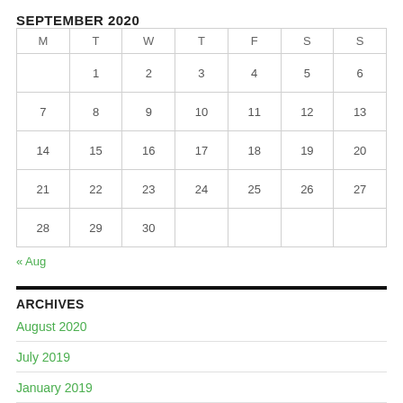SEPTEMBER 2020
| M | T | W | T | F | S | S |
| --- | --- | --- | --- | --- | --- | --- |
|  | 1 | 2 | 3 | 4 | 5 | 6 |
| 7 | 8 | 9 | 10 | 11 | 12 | 13 |
| 14 | 15 | 16 | 17 | 18 | 19 | 20 |
| 21 | 22 | 23 | 24 | 25 | 26 | 27 |
| 28 | 29 | 30 |  |  |  |  |
« Aug
ARCHIVES
August 2020
July 2019
January 2019